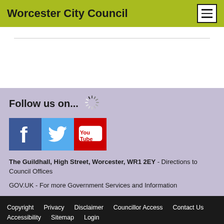Worcester City Council
[Figure (screenshot): Loading spinner icon]
Follow us on...
[Figure (illustration): Social media icons: Facebook, Twitter, YouTube]
The Guildhall, High Street, Worcester, WR1 2EY - Directions to Council Offices
GOV.UK - For more Government Services and Information
Copyright  Privacy  Disclaimer  Councillor Access  Contact Us  Accessibility  Sitemap  Login